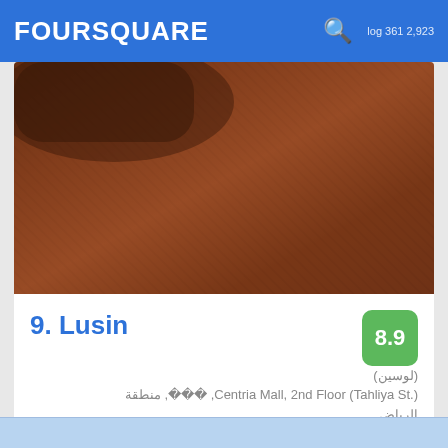FOURSQUARE
[Figure (photo): Close-up photo of brown fabric/textile with diagonal weave texture]
9. Lusin
(لوسين)
Centria Mall, 2nd Floor (Tahliya St.), منطقة الرياض
العليا · 1441 · 로그인하여 팁 보기
T S: شي ، بالقشطة الحلوم راحة خرافي